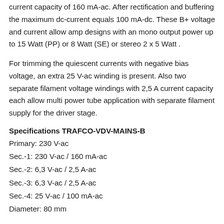current capacity of 160 mA-ac. After rectification and buffering the maximum dc-current equals 100 mA-dc. These B+ voltage and current allow amp designs with an mono output power up to 15 Watt (PP) or 8 Watt (SE) or stereo 2 x 5 Watt .
For trimming the quiescent currents with negative bias voltage, an extra 25 V-ac winding is present. Also two separate filament voltage windings with 2,5 A current capacity each allow multi power tube application with separate filament supply for the driver stage.
Specifications TRAFCO-VDV-MAINS-B
Primary: 230 V-ac
Sec.-1: 230 V-ac / 160 mA-ac
Sec.-2: 6,3 V-ac / 2,5 A-ac
Sec.-3: 6,3 V-ac / 2,5 A-ac
Sec.-4: 25 V-ac / 100 mA-ac
Diameter: 80 mm